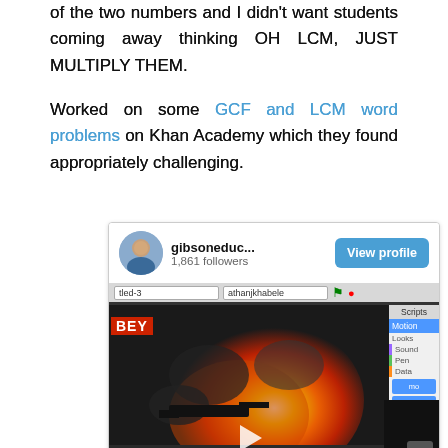of the two numbers and I didn't want students coming away thinking OH LCM, JUST MULTIPLY THEM.
Worked on some GCF and LCM word problems on Khan Academy which they found appropriately challenging.
[Figure (screenshot): Instagram-style screenshot showing profile 'gibsoneduc...' with 1,861 followers and a View profile button. Below is a screenshot of what appears to be a Scratch programming environment with an explosion/game image visible, showing Motion, Looks, Sound, Pen, Data script categories in the sidebar.]